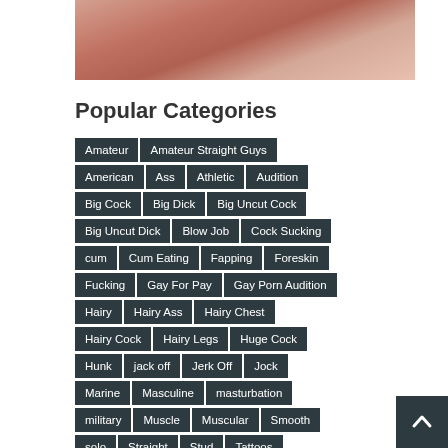[Figure (photo): Partial body photo cropped at top of page]
Popular Categories
Amateur
Amateur Straight Guys
American
Ass
Athletic
Audition
Big Cock
Big Dick
Big Uncut Cock
Big Uncut Dick
Blow Job
Cock Sucking
cum
Cum Eating
Fapping
Foreskin
Fucking
Gay For Pay
Gay Porn Audition
Hairy
Hairy Ass
Hairy Chest
Hairy Cock
Hairy Legs
Huge Cock
Hunk
jack off
Jerk Off
Jock
Marine
Masculine
masturbation
military
Muscle
Muscular
Smooth
solo
Straight
Stud
Tattoos